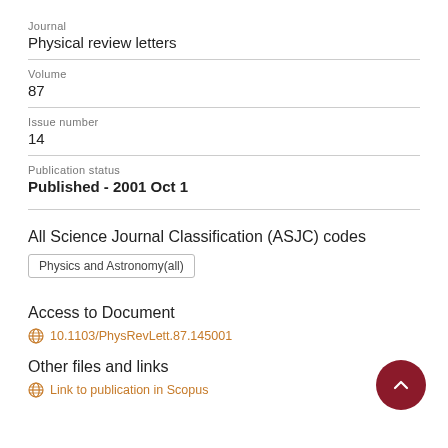Journal
Physical review letters
Volume
87
Issue number
14
Publication status
Published - 2001 Oct 1
All Science Journal Classification (ASJC) codes
Physics and Astronomy(all)
Access to Document
10.1103/PhysRevLett.87.145001
Other files and links
Link to publication in Scopus